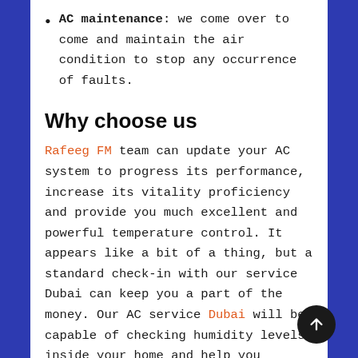AC maintenance: we come over to come and maintain the air condition to stop any occurrence of faults.
Why choose us
Rafeeg FM team can update your AC system to progress its performance, increase its vitality proficiency and provide you much excellent and powerful temperature control. It appears like a bit of a thing, but a standard check-in with our service Dubai can keep you a part of the money. Our AC service Dubai will be capable of checking humidity levels inside your home and help you